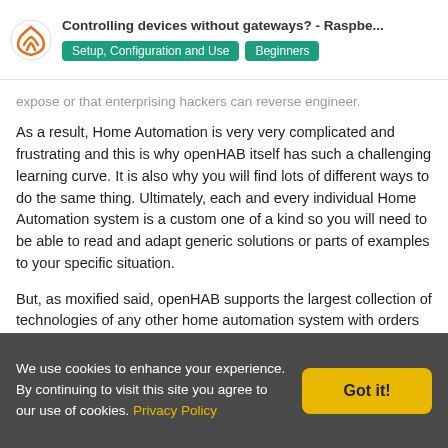Controlling devices without gateways? - Raspbe... | Setup, Configuration and Use | Beginners
As a result, Home Automation is very very complicated and frustrating and this is why openHAB itself has such a challenging learning curve. It is also why you will find lots of different ways to do the same thing. Ultimately, each and every individual Home Automation system is a custom one of a kind so you will need to be able to read and adapt generic solutions or parts of examples to your specific situation.
But, as moxified said, openHAB supports the largest collection of technologies of any other home automation system with orders of magnitude more than the commercial hubs like Vera and Wink.
It sounds like you are starting off right. Start small and grow
We use cookies to enhance your experience. By continuing to visit this site you agree to our use of cookies. Privacy Policy